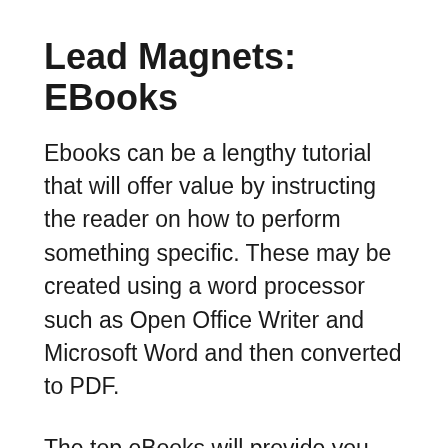Lead Magnets: EBooks
Ebooks can be a lengthy tutorial that will offer value by instructing the reader on how to perform something specific. These may be created using a word processor such as Open Office Writer and Microsoft Word and then converted to PDF.
The top eBooks will provide you with the knowledge that you won't discover anywhere else. Use them as a lead magnet to get individuals to join your mailing list. Make excellent visuals for your eBooks that it can get a lot of high